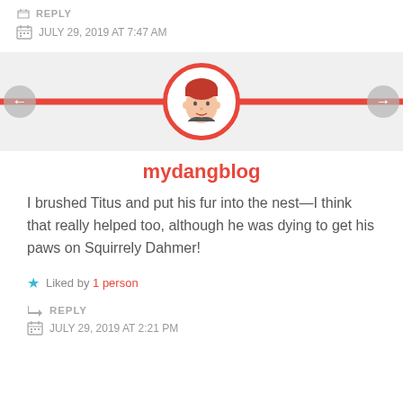REPLY
JULY 29, 2019 AT 7:47 AM
[Figure (illustration): Circular avatar with red border showing a cartoon bitmoji face with red hair, centered on a horizontal red bar, on a light gray background]
mydangblog
I brushed Titus and put his fur into the nest—I think that really helped too, although he was dying to get his paws on Squirrely Dahmer!
Liked by 1 person
REPLY
JULY 29, 2019 AT 2:21 PM